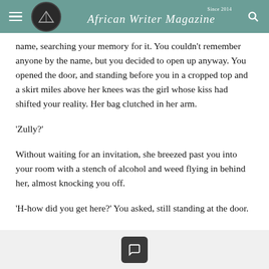African Writer Magazine — Since 2014
name, searching your memory for it. You couldn't remember anyone by the name, but you decided to open up anyway. You opened the door, and standing before you in a cropped top and a skirt miles above her knees was the girl whose kiss had shifted your reality. Her bag clutched in her arm.
'Zully?'
Without waiting for an invitation, she breezed past you into your room with a stench of alcohol and weed flying in behind her, almost knocking you off.
'H-how did you get here?' You asked, still standing at the door.
Comment button